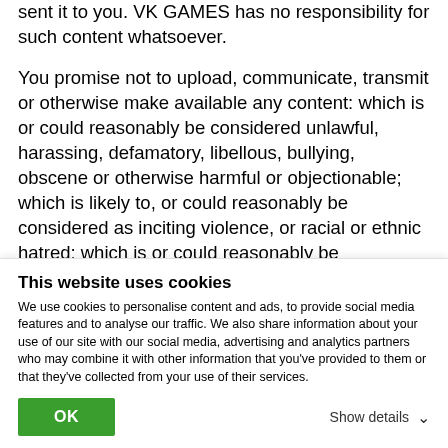sent it to you. VK GAMES has no responsibility for such content whatsoever.
You promise not to upload, communicate, transmit or otherwise make available any content: which is or could reasonably be considered unlawful, harassing, defamatory, libellous, bullying, obscene or otherwise harmful or objectionable; which is likely to, or could reasonably be considered as inciting violence, or racial or ethnic hatred; which is or could reasonably be considered invasive of another person's privacy; which contain pictures, illustrations, videos or other material of sexual or
This website uses cookies
We use cookies to personalise content and ads, to provide social media features and to analyse our traffic. We also share information about your use of our site with our social media, advertising and analytics partners who may combine it with other information that you've provided to them or that they've collected from your use of their services.